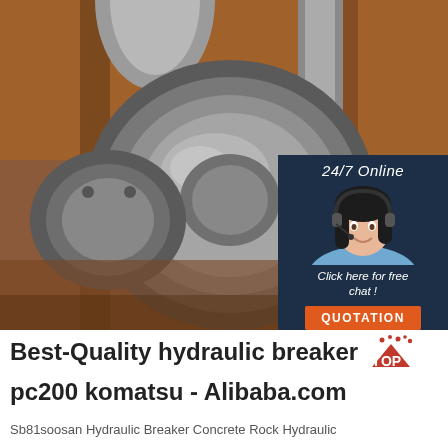[Figure (photo): Close-up photograph of a hydraulic breaker / rock hammer metal component — large circular steel flange/bushing with polished metal surface, mounted between wooden/orange-painted support structures. A '24/7 Online' chat advertisement overlay is visible in the top-right corner showing a woman with a headset and an orange 'QUOTATION' button.]
Best-Quality hydraulic breaker pc200 komatsu - Alibaba.com
Sb81soosan Hydraulic Breaker Concrete Rock Hydraulic